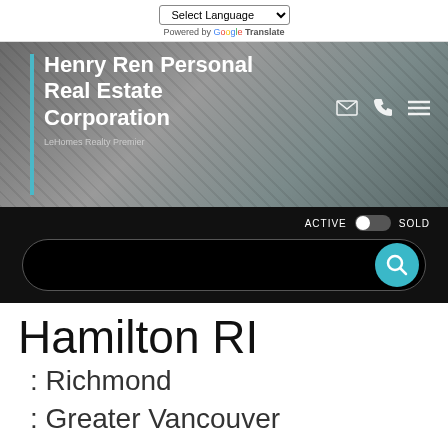[Figure (screenshot): Select Language dropdown with Google Translate branding]
[Figure (screenshot): Henry Ren Personal Real Estate Corporation hero banner with LeHomes Realty Premier subtitle and navigation icons]
[Figure (screenshot): Black search bar section with ACTIVE/SOLD toggle and search button]
Hamilton RI
: Richmond
: Greater Vancouver